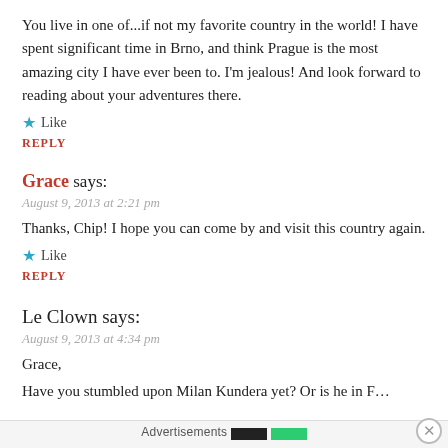You live in one of...if not my favorite country in the world! I have spent significant time in Brno, and think Prague is the most amazing city I have ever been to. I'm jealous! And look forward to reading about your adventures there.
★ Like
REPLY
Grace says:
August 9, 2013 at 2:21 pm
Thanks, Chip! I hope you can come by and visit this country again.
★ Like
REPLY
Le Clown says:
August 9, 2013 at 4:34 pm
Grace,
Have you stumbled upon Milan Kundera yet? Or is he in France and too hard
Advertisements